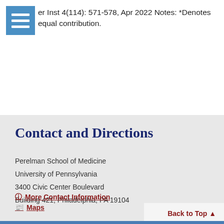er Inst 4(114): 571-578, Apr 2022 Notes: *Denotes equal contribution.
Contact and Directions
Perelman School of Medicine
University of Pennsylvania
3400 Civic Center Boulevard
Building 421, Philadelphia, PA 19104
More Contact Information
Maps
Back to Top ▲